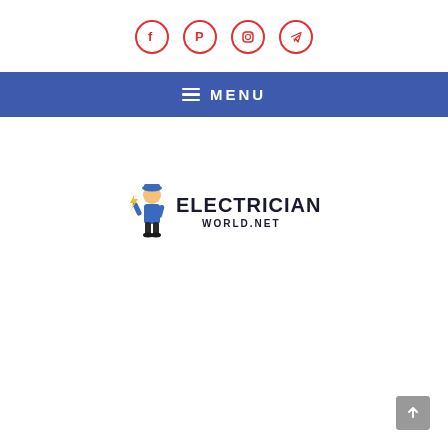Social media icons: Facebook, Pinterest, Instagram, Telegram
≡ MENU
[Figure (logo): Electrician World.net logo with electrician mascot holding a lightning bolt]